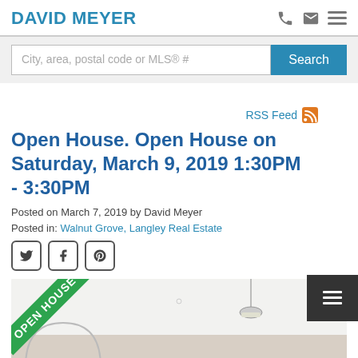DAVID MEYER
City, area, postal code or MLS® #
RSS Feed
Open House. Open House on Saturday, March 9, 2019 1:30PM - 3:30PM
Posted on March 7, 2019 by David Meyer
Posted in: Walnut Grove, Langley Real Estate
[Figure (photo): Interior room photo with Open House green ribbon overlay in top-left corner. Room shows white ceiling, pendant lamp, and partial mirror reflection.]